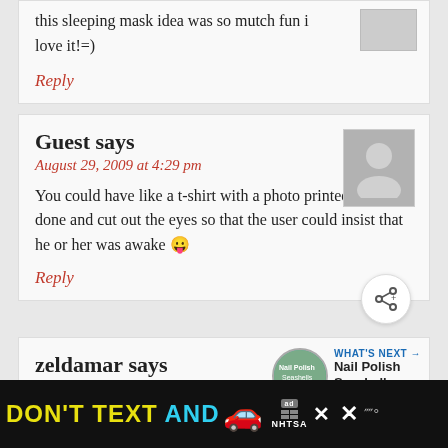this sleeping mask idea was so mutch fun i love it!=)
Reply
Guest says
August 29, 2009 at 4:29 pm
You could have like a t-shirt with a photo printed onto it done and cut out the eyes so that the user could insist that he or her was awake 😛
Reply
zeldamar says
August 20, 2009 at 3:17 pm
Thanks for the very well-thought-out
[Figure (screenshot): Advertisement bar at bottom: DON'T TEXT AND [car emoji] with NHTSA logo and close buttons]